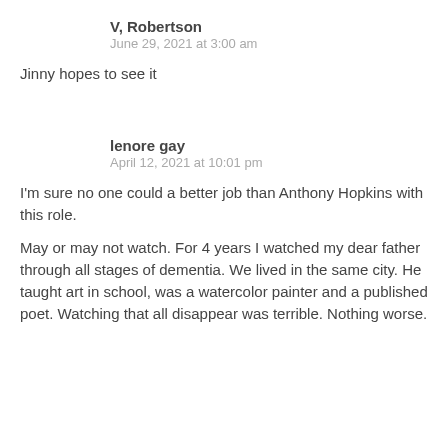V, Robertson
June 29, 2021 at 3:00 am
Jinny hopes to see it
lenore gay
April 12, 2021 at 10:01 pm
I'm sure no one could a better job than Anthony Hopkins with this role.
May or may not watch. For 4 years I watched my dear father through all stages of dementia. We lived in the same city. He taught art in school, was a watercolor painter and a published poet. Watching that all disappear was terrible. Nothing worse.